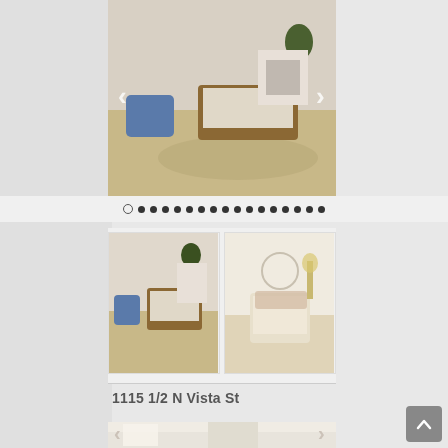[Figure (photo): Living room interior photo showing a wooden sofa with beige cushions, blue armchair, plants, hardwood floor, and white fireplace. Carousel navigation arrows visible.]
[Figure (photo): Carousel dot navigation indicators showing current position among multiple photos.]
[Figure (photo): Two thumbnail photos side by side: left shows the same living room from a slightly different angle with wood sofa and blue armchair; right shows a bedroom/sitting area with light-colored chair and blanket.]
1115 1/2 N Vista St
[Figure (photo): Interior room photo showing a bright white room with large windows, fireplace, and white sofa. Carousel navigation arrows visible.]